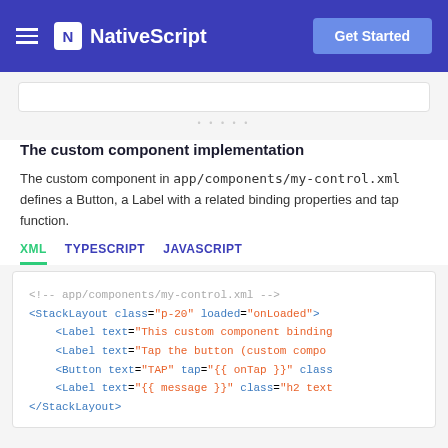NativeScript — Get Started
The custom component implementation
The custom component in app/components/my-control.xml defines a Button, a Label with a related binding properties and tap function.
XML   TYPESCRIPT   JAVASCRIPT
[Figure (screenshot): XML code block showing NativeScript XML template: <!-- app/components/my-control.xml --> <StackLayout class="p-20" loaded="onLoaded"> <Label text="This custom component binding… <Label text="Tap the button (custom compo… <Button text="TAP" tap="{{ onTap }}" class… <Label text="{{ message }}" class="h2 text… </StackLayout>]